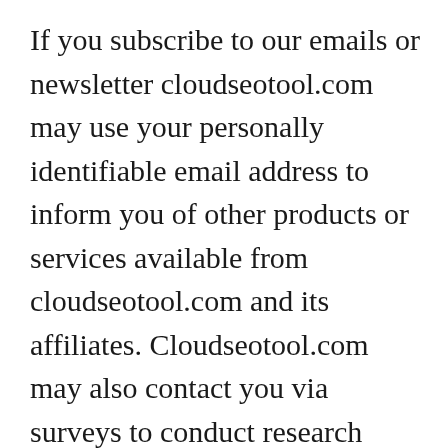If you subscribe to our emails or newsletter cloudseotool.com may use your personally identifiable email address to inform you of other products or services available from cloudseotool.com and its affiliates. Cloudseotool.com may also contact you via surveys to conduct research about your opinion of current services or of potential new services. Please keep in mind that if you directly disclose personally identifiable information or personally sensitive data through the cloudseotool.com blog, this